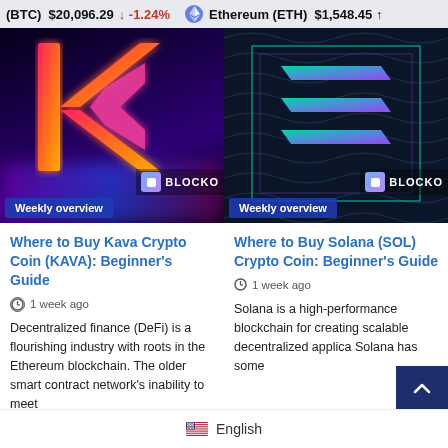(BTC) $20,096.29 ↓ -1.24%   Ethereum (ETH) $1,548.45 ↑
[Figure (screenshot): Kava crypto coin article thumbnail with neon K logo and 'Weekly overview' badge and BLOCKON branding]
[Figure (screenshot): Solana crypto coin article thumbnail with Solana logo and 'Weekly overview' badge and BLOCKON branding]
Where to Buy Kava Crypto Coin (KAVA): Beginner's Guide
Where to Buy Solana (SOL) Crypto Coin: Beginner's Guide
1 week ago
1 week ago
Decentralized finance (DeFi) is a flourishing industry with roots in the Ethereum blockchain. The older smart contract network's inability to meet
Solana is a high-performance blockchain for creating scalable decentralized applica Solana has some